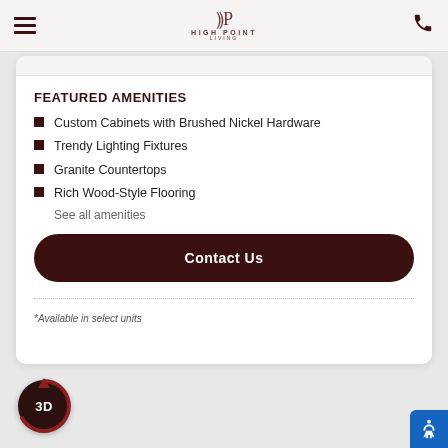HIGH POINT LIVING
FEATURED AMENITIES
Custom Cabinets with Brushed Nickel Hardware
Trendy Lighting Fixtures
Granite Countertops
Rich Wood-Style Flooring
See all amenities
Contact Us
*Available in select units
[Figure (other): 3D tour button circle with arrow arc]